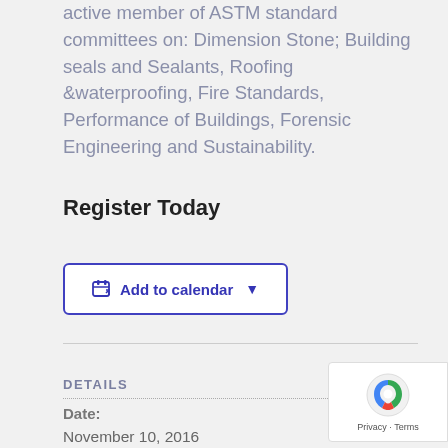active member of ASTM standard committees on: Dimension Stone; Building seals and Sealants, Roofing &waterproofing, Fire Standards, Performance of Buildings, Forensic Engineering and Sustainability.
Register Today
[Figure (other): Button with calendar icon and dropdown chevron labeled 'Add to calendar']
DETAILS
Date:
November 10, 2016